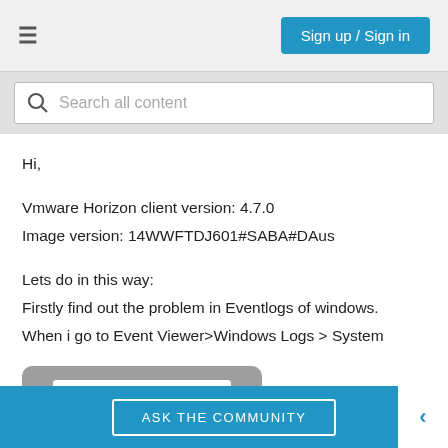Sign up / Sign in
Search all content
Hi,

Vmware Horizon client version: 4.7.0
Image version: 14WWFTDJ601#SABA#DAus

Lets do in this way:
Firstly find out the problem in Eventlogs of windows.
When i go to Event Viewer>Windows Logs > System
[Figure (screenshot): Screenshot placeholder image partially visible at the bottom of the content area]
ASK THE COMMUNITY